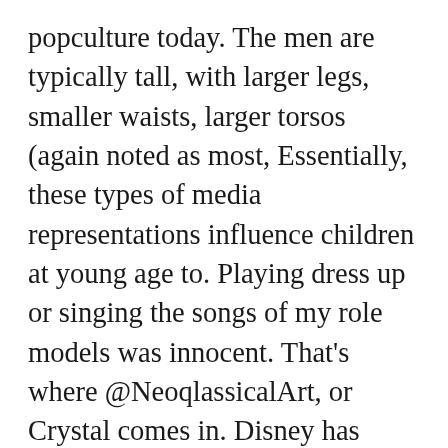popculture today. The men are typically tall, with larger legs, smaller waists, larger torsos (again noted as most, Essentially, these types of media representations influence children at young age to. Playing dress up or singing the songs of my role models was innocent. That's where @NeoqlassicalArt, or Crystal comes in. Disney has come a long way, but still has some work to do, says Coyne. "As a woman who loves Disney and has dealt with body image issues, it has been something I've always wanted to comment on, particularly after seeing 'Frozen,'" Brantz told The Huffington Post in an email Thursday. In addition to promoting society's thin ideal, Megara encourages the idea of appearance over personality. The female